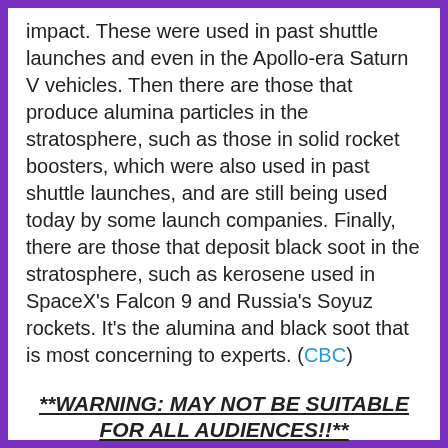impact. These were used in past shuttle launches and even in the Apollo-era Saturn V vehicles. Then there are those that produce alumina particles in the stratosphere, such as those in solid rocket boosters, which were also used in past shuttle launches, and are still being used today by some launch companies. Finally, there are those that deposit black soot in the stratosphere, such as kerosene used in SpaceX's Falcon 9 and Russia's Soyuz rockets. It's the alumina and black soot that is most concerning to experts. (CBC)
**WARNING: MAY NOT BE SUITABLE FOR ALL AUDIENCES!!**
MAN WHO FILMED HIMSELF